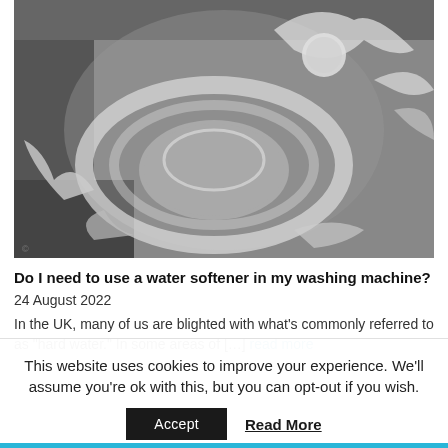[Figure (photo): Black and white close-up photo of water splashing inside a washing machine drum, with bubbles and water spray visible]
Do I need to use a water softener in my washing machine?
24 August 2022
In the UK, many of us are blighted with what's commonly referred to as “hard water.” In some areas of [...] read more
This website uses cookies to improve your experience. We'll assume you're ok with this, but you can opt-out if you wish.